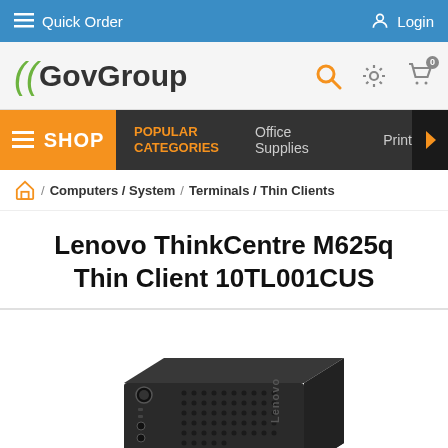Quick Order | Login
[Figure (logo): GovGroup logo with green parenthesis and search, settings, cart icons]
SHOP | POPULAR CATEGORIES | Office Supplies | Print
Home / Computers / System / Terminals / Thin Clients
Lenovo ThinkCentre M625q Thin Client 10TL001CUS
[Figure (photo): Lenovo ThinkCentre M625q Thin Client product photo, small black rectangular device with ventilation holes, angled view showing front ports and Lenovo branding]